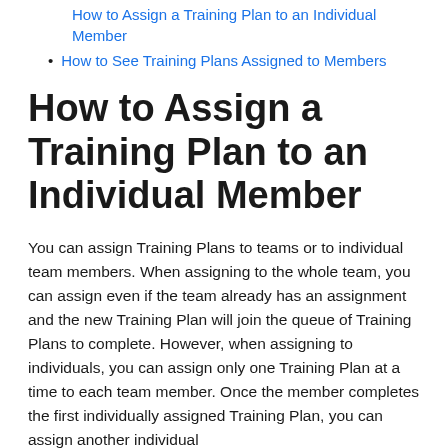How to Assign a Training Plan to an Individual Member
How to See Training Plans Assigned to Members
How to Assign a Training Plan to an Individual Member
You can assign Training Plans to teams or to individual team members. When assigning to the whole team, you can assign even if the team already has an assignment and the new Training Plan will join the queue of Training Plans to complete. However, when assigning to individuals, you can assign only one Training Plan at a time to each team member. Once the member completes the first individually assigned Training Plan, you can assign another individual